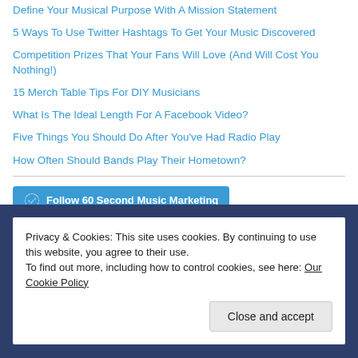Define Your Musical Purpose With A Mission Statement
5 Ways To Use Twitter Hashtags To Get Your Music Discovered
Competition Prizes That Your Fans Will Love (And Will Cost You Nothing!)
15 Merch Table Tips For DIY Musicians
What Is The Ideal Length For A Facebook Video?
Five Things You Should Do After You've Had Radio Play
How Often Should Bands Play Their Hometown?
[Figure (other): Follow 60 Second Music Marketing button with WordPress logo]
Privacy & Cookies: This site uses cookies. By continuing to use this website, you agree to their use.
To find out more, including how to control cookies, see here: Our Cookie Policy
Close and accept